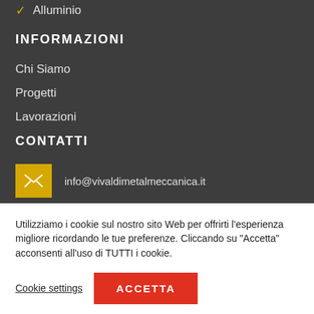✓ Alluminio
INFORMAZIONI
Chi Siamo
Progetti
Lavorazioni
CONTATTI
info@vivaldimetalmeccanica.it
Utilizziamo i cookie sul nostro sito Web per offrirti l'esperienza migliore ricordando le tue preferenze. Cliccando su "Accetta" acconsenti all'uso di TUTTI i cookie.
Cookie settings
ACCETTA